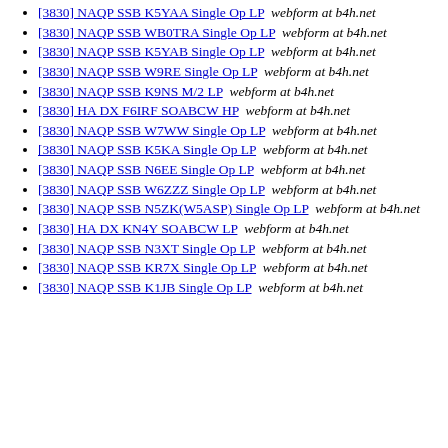[3830] NAQP SSB K5YAA Single Op LP  webform at b4h.net
[3830] NAQP SSB WB0TRA Single Op LP  webform at b4h.net
[3830] NAQP SSB K5YAB Single Op LP  webform at b4h.net
[3830] NAQP SSB W9RE Single Op LP  webform at b4h.net
[3830] NAQP SSB K9NS M/2 LP  webform at b4h.net
[3830] HA DX F6IRF SOABCW HP  webform at b4h.net
[3830] NAQP SSB W7WW Single Op LP  webform at b4h.net
[3830] NAQP SSB K5KA Single Op LP  webform at b4h.net
[3830] NAQP SSB N6EE Single Op LP  webform at b4h.net
[3830] NAQP SSB W6ZZZ Single Op LP  webform at b4h.net
[3830] NAQP SSB N5ZK(W5ASP) Single Op LP  webform at b4h.net
[3830] HA DX KN4Y SOABCW LP  webform at b4h.net
[3830] NAQP SSB N3XT Single Op LP  webform at b4h.net
[3830] NAQP SSB KR7X Single Op LP  webform at b4h.net
[3830] NAQP SSB K1JB Single Op LP  webform at b4h.net